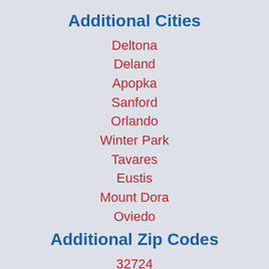Additional Cities
Deltona
Deland
Apopka
Sanford
Orlando
Winter Park
Tavares
Eustis
Mount Dora
Oviedo
Additional Zip Codes
32724
32738
32725
32771
32712